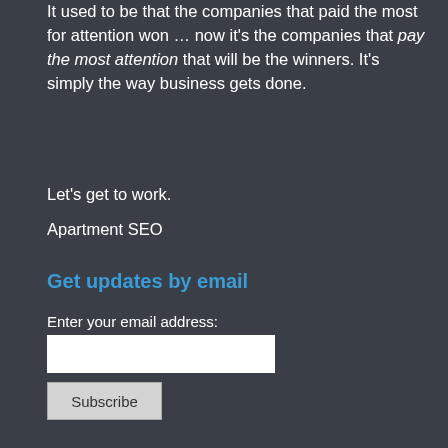It used to be that the companies that paid the most for attention won … now it's the companies that pay the most attention that will be the winners. It's simply the way business gets done.
Let's get to work.
Apartment SEO
Get updates by email
Enter your email address:
Subscribe